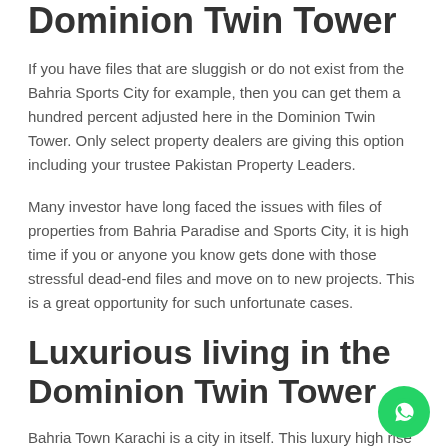Dominion Twin Tower
If you have files that are sluggish or do not exist from the Bahria Sports City for example, then you can get them a hundred percent adjusted here in the Dominion Twin Tower. Only select property dealers are giving this option including your trustee Pakistan Property Leaders.
Many investor have long faced the issues with files of properties from Bahria Paradise and Sports City, it is high time if you or anyone you know gets done with those stressful dead-end files and move on to new projects. This is a great opportunity for such unfortunate cases.
Luxurious living in the Dominion Twin Tower
Bahria Town Karachi is a city in itself. This luxury high rise is a place of peace and comfort for the elitist of the